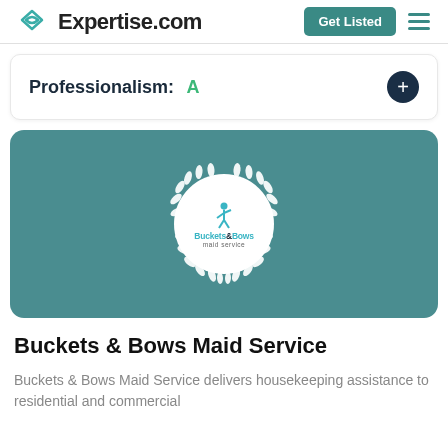Expertise.com | Get Listed
Professionalism: A
[Figure (logo): Buckets & Bows Maid Service logo inside a white circle with a white laurel wreath on a teal background]
Buckets & Bows Maid Service
Buckets & Bows Maid Service delivers housekeeping assistance to residential and commercial